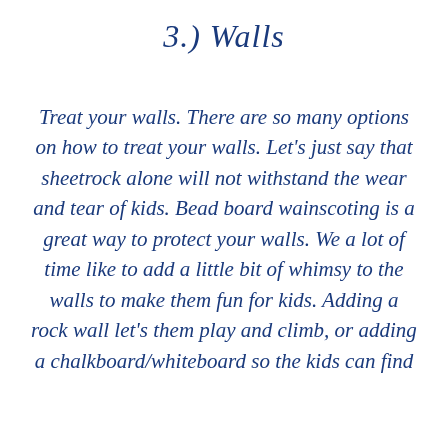3.) Walls
Treat your walls. There are so many options on how to treat your walls. Let's just say that sheetrock alone will not withstand the wear and tear of kids. Bead board wainscoting is a great way to protect your walls. We a lot of time like to add a little bit of whimsy to the walls to make them fun for kids. Adding a rock wall let's them play and climb, or adding a chalkboard/whiteboard so the kids can find...